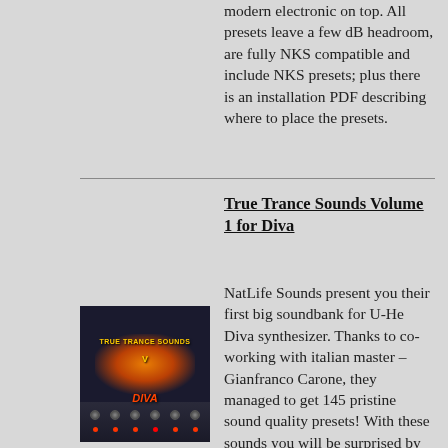modern electronic on top. All presets leave a few dB headroom, are fully NKS compatible and include NKS presets; plus there is an installation PDF describing where to place the presets.
True Trance Sounds Volume 1 for Diva
[Figure (photo): Product cover image for True Trance Sounds Volume 1 for Diva synthesizer plugin, showing a dark synthesizer interface with orange/fire glow effect and yellow text]
NatLife Sounds present you their first big soundbank for U-He Diva synthesizer. Thanks to co-working with italian master – Gianfranco Carone, they managed to get 145 pristine sound quality presets! With these sounds you will be surprised by Diva's updated sound. All possible palette of trance sounds was covered in one big colletion. Ready for instant use ARP and